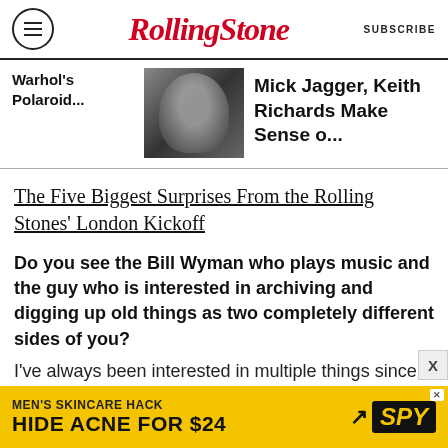Rolling Stone | SUBSCRIBE
Warhol's Polaroid...
[Figure (photo): Black and white photograph of two people]
Mick Jagger, Keith Richards Make Sense o...
The Five Biggest Surprises From the Rolling Stones' London Kickoff
Do you see the Bill Wyman who plays music and the guy who is interested in archiving and digging up old things as two completely different sides of you?
I've always been interested in multiple things since I was a teenager. I've always been interested in ancient cultures, archaeology
[Figure (infographic): Advertisement: MEN'S SKINCARE HACK HIDE ACNE FOR $24 SPY]